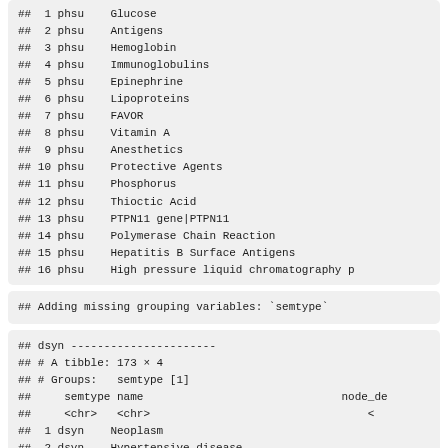## 1 phsu Glucose
## 2 phsu Antigens
## 3 phsu Hemoglobin
## 4 phsu Immunoglobulins
## 5 phsu Epinephrine
## 6 phsu Lipoproteins
## 7 phsu FAVOR
## 8 phsu Vitamin A
## 9 phsu Anesthetics
## 10 phsu Protective Agents
## 11 phsu Phosphorus
## 12 phsu Thioctic Acid
## 13 phsu PTPN11 gene|PTPN11
## 14 phsu Polymerase Chain Reaction
## 15 phsu Hepatitis B Surface Antigens
## 16 phsu High pressure liquid chromatography p
## Adding missing grouping variables: `semtype`
## dsyn ----------------------
## # A tibble: 173 × 4
## # Groups:   semtype [1]
##     semtype name                          node_de
##     <chr>   <chr>                               <
## 1 dsyn    Neoplasm
## 2 dsyn    Hypertensive disease